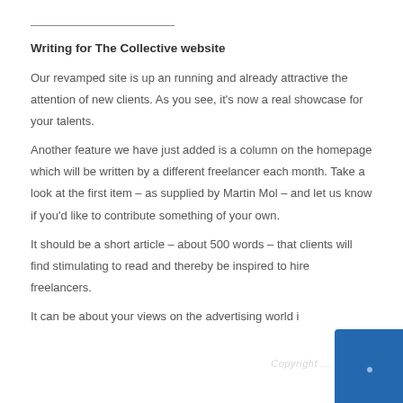Writing for The Collective website
Our revamped site is up an running and already attractive the attention of new clients. As you see, it's now a real showcase for your talents.
Another feature we have just added is a column on the homepage which will be written by a different freelancer each month. Take a look at the first item – as supplied by Martin Mol – and let us know if you'd like to contribute something of your own.
It should be a short article – about 500 words – that clients will find stimulating to read and thereby be inspired to hire freelancers.
It can be about your views on the advertising world i…
[Figure (other): Blue square decorative element in bottom-right corner]